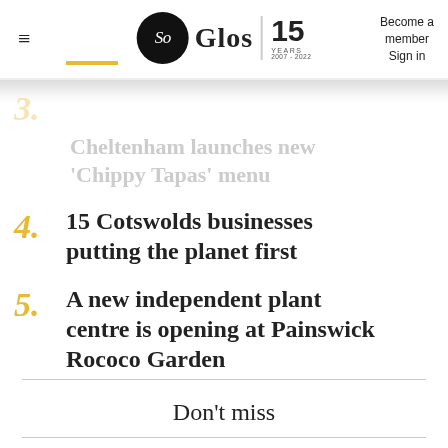So Glos | 15 YEARS 2007-2022 | Become a member | Sign in
3. Steppingstone Fish and Chips in Cheltenham launches new 'Chippy Tapas' menu
4. 15 Cotswolds businesses putting the planet first
5. A new independent plant centre is opening at Painswick Rococo Garden
Don't miss